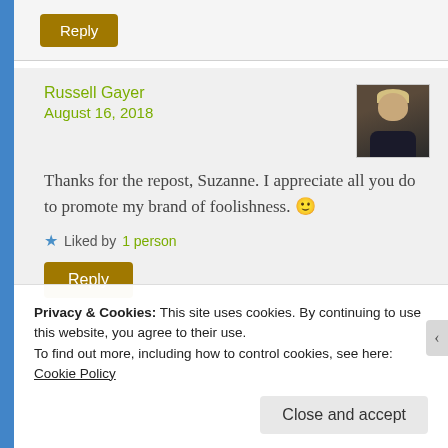[Figure (other): Reply button at top of comment thread]
Russell Gayer
August 16, 2018
[Figure (photo): Avatar photo of Russell Gayer - older man with light hair in dark jacket]
Thanks for the repost, Suzanne. I appreciate all you do to promote my brand of foolishness. 🙂
★ Liked by 1 person
[Figure (other): Reply button below comment]
Privacy & Cookies: This site uses cookies. By continuing to use this website, you agree to their use.
To find out more, including how to control cookies, see here: Cookie Policy
Close and accept